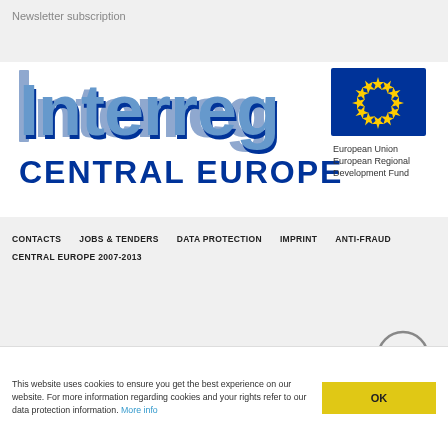Newsletter subscription
[Figure (logo): Interreg Central Europe logo with EU flag and text 'European Union European Regional Development Fund']
CONTACTS
JOBS & TENDERS
DATA PROTECTION
IMPRINT
ANTI-FRAUD
CENTRAL EUROPE 2007-2013
This website uses cookies to ensure you get the best experience on our website. For more information regarding cookies and your rights refer to our data protection information. More info